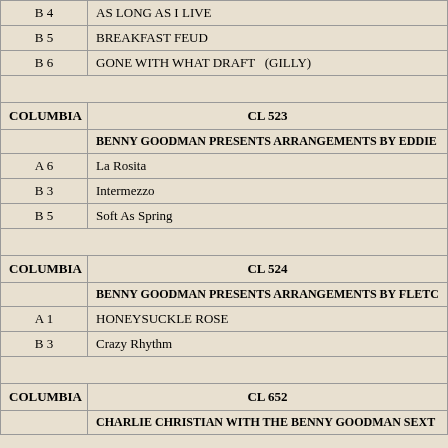| B 4 | AS LONG AS I LIVE |
| B 5 | BREAKFAST FEUD |
| B 6 | GONE WITH WHAT DRAFT   (GILLY) |
|  |  |
| COLUMBIA | CL 523 |
|  | BENNY GOODMAN PRESENTS ARRANGEMENTS BY EDDIE |
| A 6 | La Rosita |
| B 3 | Intermezzo |
| B 5 | Soft As Spring |
|  |  |
| COLUMBIA | CL 524 |
|  | BENNY GOODMAN PRESENTS ARRANGEMENTS BY FLETC |
| A 1 | HONEYSUCKLE ROSE |
| B 3 | Crazy Rhythm |
|  |  |
| COLUMBIA | CL 652 |
|  | CHARLIE CHRISTIAN WITH THE BENNY GOODMAN SEXT |